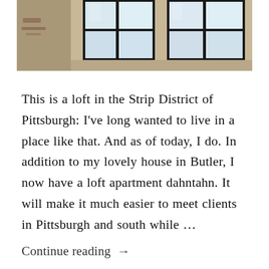[Figure (photo): Interior photo of a loft space showing two large industrial windows set in a concrete/brick wall, taken from inside looking toward the windows which let in bright light.]
This is a loft in the Strip District of Pittsburgh: I've long wanted to live in a place like that. And as of today, I do. In addition to my lovely house in Butler, I now have a loft apartment dahntahn. It will make it much easier to meet clients in Pittsburgh and south while …
Continue reading →